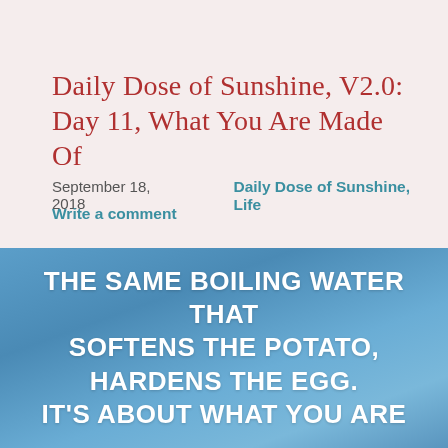Daily Dose of Sunshine, V2.0: Day 11, What You Are Made Of
September 18, 2018    Daily Dose of Sunshine, Life
Write a comment
[Figure (photo): Ocean water background with blue-gray tones, waves texture]
THE SAME BOILING WATER THAT SOFTENS THE POTATO, HARDENS THE EGG. IT'S ABOUT WHAT YOU ARE